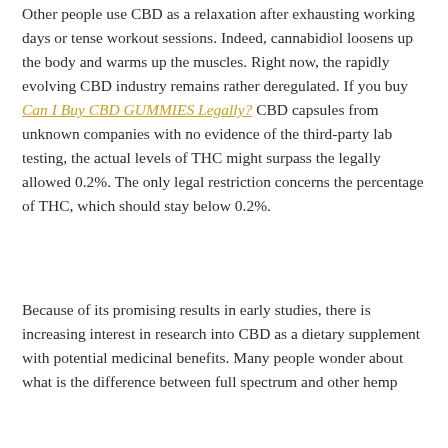Other people use CBD as a relaxation after exhausting working days or tense workout sessions. Indeed, cannabidiol loosens up the body and warms up the muscles. Right now, the rapidly evolving CBD industry remains rather deregulated. If you buy Can I Buy CBD GUMMIES Legally? CBD capsules from unknown companies with no evidence of the third-party lab testing, the actual levels of THC might surpass the legally allowed 0.2%. The only legal restriction concerns the percentage of THC, which should stay below 0.2%.
Because of its promising results in early studies, there is increasing interest in research into CBD as a dietary supplement with potential medicinal benefits. Many people wonder about what is the difference between full spectrum and other hemp